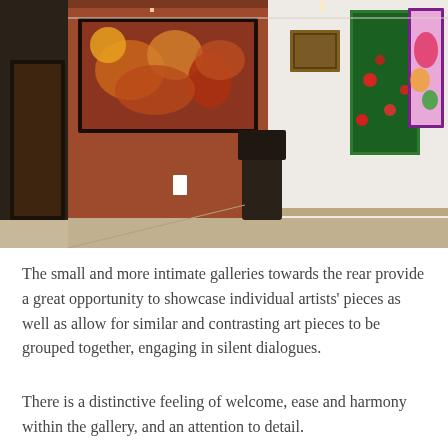[Figure (photo): Interior of an art gallery showing colorful paintings hung on walls. A terracotta-colored divider wall displays a large vivid painting with abstract figures and warm tones. On the white wall to the right, several paintings are hung including a large green painting with red flowers, and a vibrant purple-bordered canvas. The gallery has neutral flooring and warm lighting.]
The small and more intimate galleries towards the rear provide a great opportunity to showcase individual artists' pieces as well as allow for similar and contrasting art pieces to be grouped together, engaging in silent dialogues.
There is a distinctive feeling of welcome, ease and harmony within the gallery, and an attention to detail.